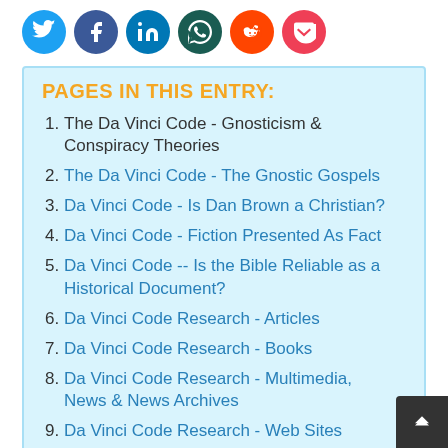[Figure (infographic): Social media share buttons: Twitter (blue), Facebook (dark blue), LinkedIn (blue), WhatsApp (dark teal), Reddit (orange), Pocket (pink-red)]
PAGES IN THIS ENTRY:
The Da Vinci Code - Gnosticism & Conspiracy Theories
The Da Vinci Code - The Gnostic Gospels
Da Vinci Code - Is Dan Brown a Christian?
Da Vinci Code - Fiction Presented As Fact
Da Vinci Code -- Is the Bible Reliable as a Historical Document?
Da Vinci Code Research - Articles
Da Vinci Code Research - Books
Da Vinci Code Research - Multimedia, News & News Archives
Da Vinci Code Research - Web Sites